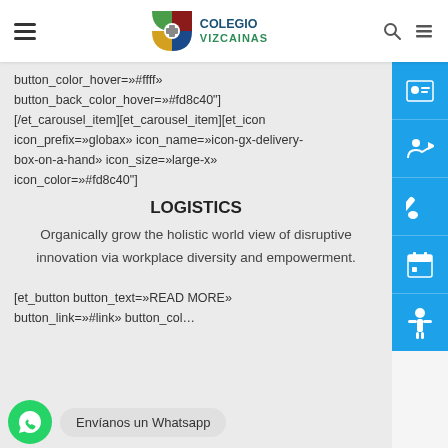Colegio Vizcaínas
button_color_hover=»#ffff» button_back_color_hover=»#fd8c40"] [/et_carousel_item][et_carousel_item][et_icon icon_prefix=»globax» icon_name=»icon-gx-delivery-box-on-a-hand» icon_size=»large-x» icon_color=»#fd8c40"]
LOGISTICS
Organically grow the holistic world view of disruptive innovation via workplace diversity and empowerment.
[et_button button_text=»READ MORE» button_link=»#link» button_col…